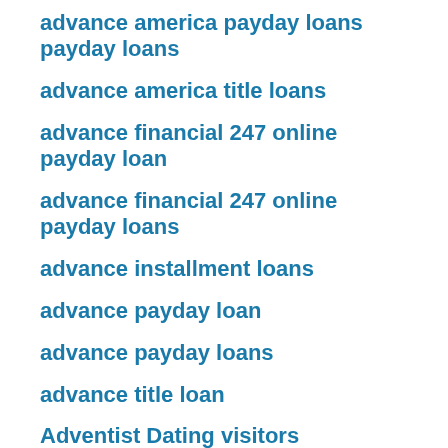advance america payday loans payday loans
advance america title loans
advance financial 247 online payday loan
advance financial 247 online payday loans
advance installment loans
advance payday loan
advance payday loans
advance title loan
Adventist Dating visitors
adventist singles